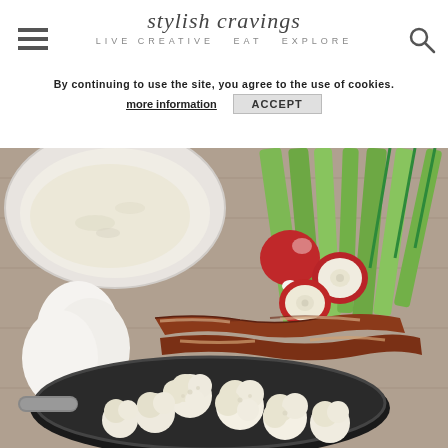stylish cravings — website header with hamburger menu and search icon
By continuing to use the site, you agree to the use of cookies.
more information   ACCEPT
[Figure (photo): Overhead photo of ingredients on a wooden surface: a white bowl of creamy sauce/dip, radishes, celery stalks, green onions, eggs, strips of bacon, and cauliflower florets in a black skillet/pan.]